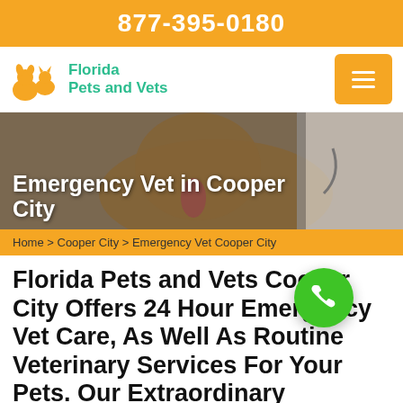877-395-0180
[Figure (logo): Florida Pets and Vets logo with orange pet silhouette icon]
[Figure (photo): Golden retriever dog with tongue out being examined by a veterinarian in white coat, hero banner image with text 'Emergency Vet in Cooper City']
Home > Cooper City > Emergency Vet Cooper City
Florida Pets and Vets Cooper City Offers 24 Hour Emergency Vet Care, As Well As Routine Veterinary Services For Your Pets. Our Extraordinary Emergency